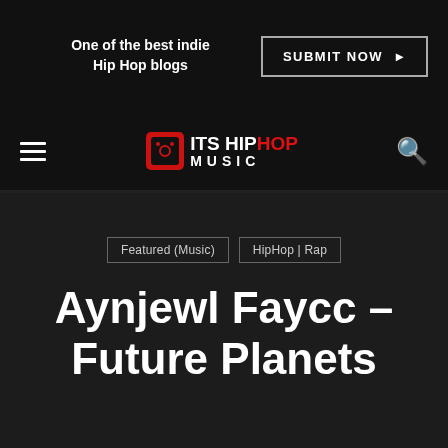One of the best indie Hip Hop blogs | SUBMIT NOW
[Figure (logo): ITS HIPHOP MUSIC logo with red icon on black navbar]
Featured (Music)
HipHop | Rap
Aynjewl Faycc – Future Planets